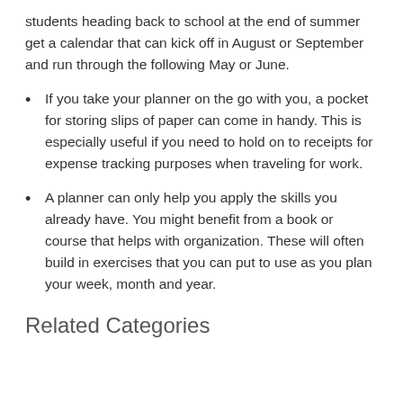students heading back to school at the end of summer get a calendar that can kick off in August or September and run through the following May or June.
If you take your planner on the go with you, a pocket for storing slips of paper can come in handy. This is especially useful if you need to hold on to receipts for expense tracking purposes when traveling for work.
A planner can only help you apply the skills you already have. You might benefit from a book or course that helps with organization. These will often build in exercises that you can put to use as you plan your week, month and year.
Related Categories